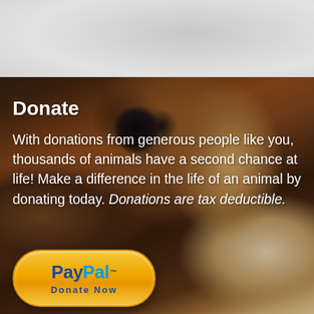[Figure (photo): Close-up photo of a Cavalier King Charles Spaniel puppy with large dark eyes, brown and white fur, looking directly at the camera with a gentle expression. The top portion shows a light gray textured background.]
Donate
With donations from generous people like you, thousands of animals have a second chance at life! Make a difference in the life of an animal by donating today. Donations are tax deductible.
[Figure (logo): PayPal Donate Now button — gold/yellow rounded pill-shaped button with PayPal logo in blue and the text 'Donate Now' beneath it]